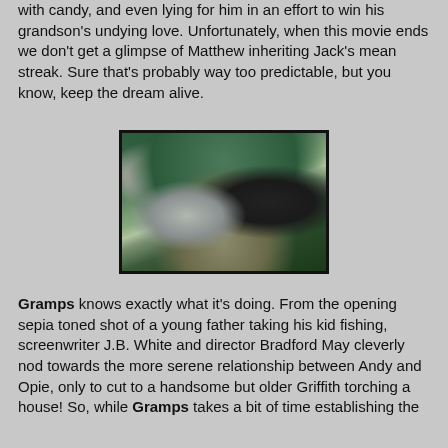with candy, and even lying for him in an effort to win his grandson's undying love. Unfortunately, when this movie ends we don't get a glimpse of Matthew inheriting Jack's mean streak. Sure that's probably way too predictable, but you know, keep the dream alive.
[Figure (photo): A scene from a movie showing an older man with white hair playing acoustic guitar while a younger person in a black shirt sits across from him, both smiling, in a room with green walls.]
Gramps knows exactly what it's doing. From the opening sepia toned shot of a young father taking his kid fishing, screenwriter J.B. White and director Bradford May cleverly nod towards the more serene relationship between Andy and Opie, only to cut to a handsome but older Griffith torching a house! So, while Gramps takes a bit of time establishing the